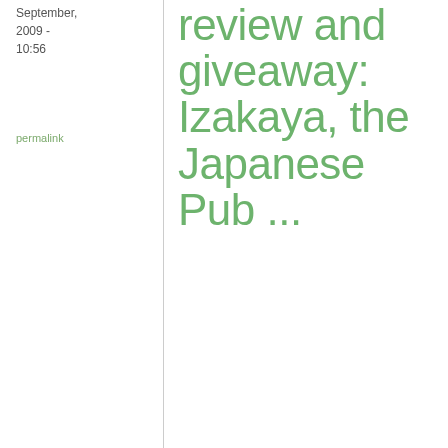September, 2009 - 10:56
permalink
review and giveaway: Izakaya, the Japanese Pub ...
I like a hot frittata with shrimps and a glass of white wine
Alice
17
Re: Book
[Figure (infographic): SHE Media Partner Network advertisement banner: woman with laptop, text 'We help content creators grow businesses through...', SHE Media logo, 'Learn More' button]